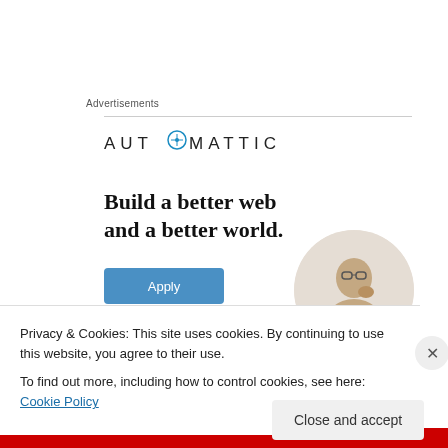Advertisements
[Figure (logo): Automattic logo with compass icon replacing the 'O' in AUTOMATTIC, displayed in uppercase spaced letters]
Build a better web and a better world.
[Figure (illustration): Apply button (blue) and circular photo of a man thinking with hand on chin, gray background circle]
Privacy & Cookies: This site uses cookies. By continuing to use this website, you agree to their use.
To find out more, including how to control cookies, see here: Cookie Policy
Close and accept